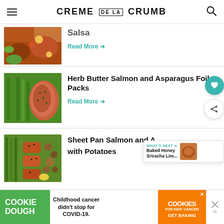CREME DE LA CRUMB
[Figure (photo): Salmon with salsa, lime and vegetables - partial view of recipe card]
Salsa
Read More →
[Figure (photo): Herb butter salmon and asparagus in foil pack on a sheet pan]
Herb Butter Salmon and Asparagus Foil Packs
Read More →
[Figure (photo): Sheet pan salmon and asparagus with potatoes]
Sheet Pan Salmon and Asparagus with Potatoes
[Figure (infographic): Ad banner: Cookie Dough - Childhood cancer didn't stop for COVID-19. Cookies for kids' cancer GET BAKING]